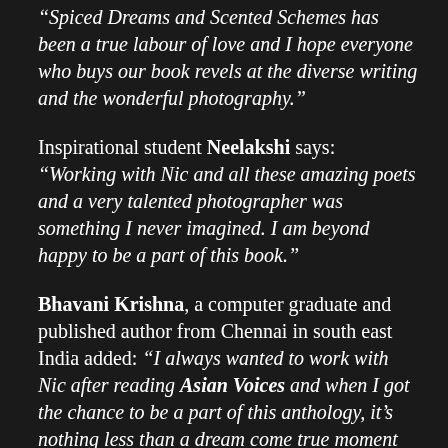“Spiced Dreams and Scented Schemes has been a true labour of love and I hope everyone who buys our book revels at the diverse writing and the wonderful photography.”
Inspirational student Neelakshi says: “Working with Nic and all these amazing poets and a very talented photographer was something I never imagined. I am beyond happy to be a part of this book.”
Bhavani Krishna, a computer graduate and published author from Chennai in south east India added: “I always wanted to work with Nic after reading Asian Voices and when I got the chance to be a part of this anthology, it’s nothing less than a dream come true moment for me.”